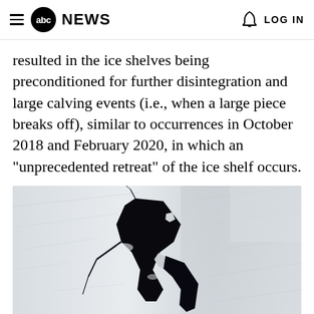abc NEWS  LOG IN
resulted in the ice shelves being preconditioned for further disintegration and large calving events (i.e., when a large piece breaks off), similar to occurrences in October 2018 and February 2020, in which an "unprecedented retreat" of the ice shelf occurs.
[Figure (photo): Satellite aerial photograph of an Antarctic ice shelf showing a large dark crack or calving event with black open water visible against white and light grey ice texture.]